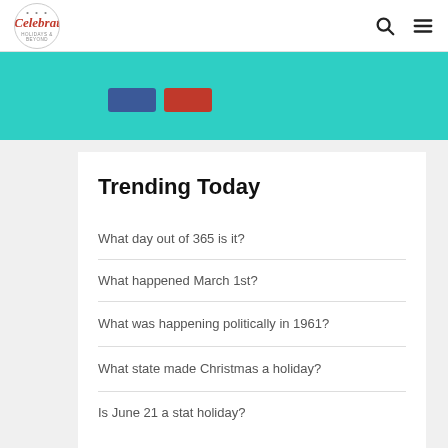Celebrat (logo)
[Figure (screenshot): Teal banner with blue Facebook button and red Pinterest button]
Trending Today
What day out of 365 is it?
What happened March 1st?
What was happening politically in 1961?
What state made Christmas a holiday?
Is June 21 a stat holiday?